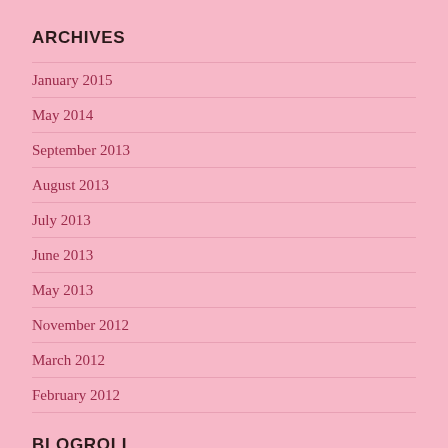ARCHIVES
January 2015
May 2014
September 2013
August 2013
July 2013
June 2013
May 2013
November 2012
March 2012
February 2012
BLOGROLL
Cleft Palate Foundation Cleft Palate Foundation is dedicated to optimizing